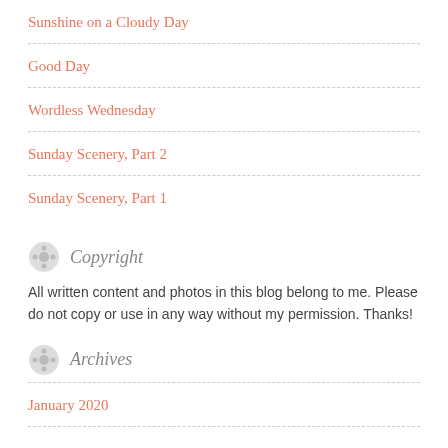Sunshine on a Cloudy Day
Good Day
Wordless Wednesday
Sunday Scenery, Part 2
Sunday Scenery, Part 1
Copyright
All written content and photos in this blog belong to me. Please do not copy or use in any way without my permission. Thanks!
Archives
January 2020